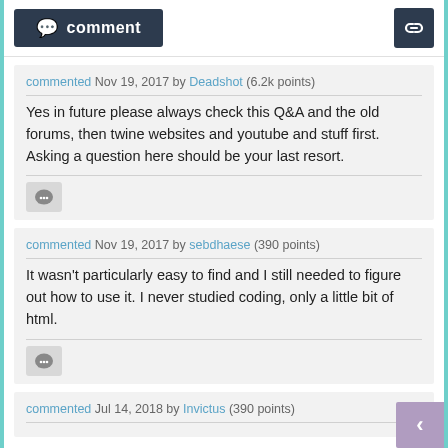comment
commented Nov 19, 2017 by Deadshot (6.2k points)
Yes in future please always check this Q&A and the old forums, then twine websites and youtube and stuff first. Asking a question here should be your last resort.
commented Nov 19, 2017 by sebdhaese (390 points)
It wasn't particularly easy to find and I still needed to figure out how to use it. I never studied coding, only a little bit of html.
commented Jul 14, 2018 by Invictus (390 points)